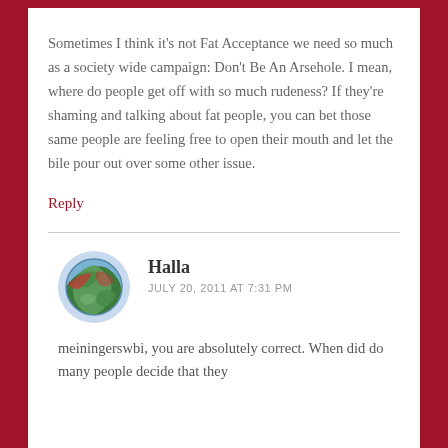Sometimes I think it's not Fat Acceptance we need so much as a society wide campaign: Don't Be An Arsehole. I mean, where do people get off with so much rudeness? If they're shaming and talking about fat people, you can bet those same people are feeling free to open their mouth and let the bile pour out over some other issue.
Reply
[Figure (illustration): Round avatar image showing a colorful illustrated globe/earth with green and red swirling patterns]
Halla
JULY 20, 2011 AT 7:31 PM
meiningerswbi, you are absolutely correct. When did so many people decide that they